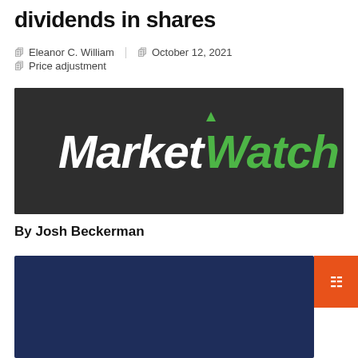dividends in shares
Eleanor C. William   October 12, 2021   Price adjustment
[Figure (logo): MarketWatch logo on dark background — white bold italic 'Market' text and green bold 'Watch' text with upward arrow accent]
By Josh Beckerman
[Figure (photo): Dark navy blue image, partially visible, bottom of page]